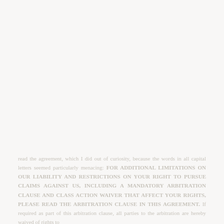read the agreement, which I did out of curiosity, because the words in all capital letters seemed particularly menacing: FOR ADDITIONAL LIMITATIONS ON OUR LIABILITY AND RESTRICTIONS ON YOUR RIGHT TO PURSUE CLAIMS AGAINST US, INCLUDING A MANDATORY ARBITRATION CLAUSE AND CLASS ACTION WAIVER THAT AFFECT YOUR RIGHTS, PLEASE READ THE ARBITRATION CLAUSE IN THIS AGREEMENT. If required as part of this arbitration clause, all parties to the arbitration are hereby waived of rights to